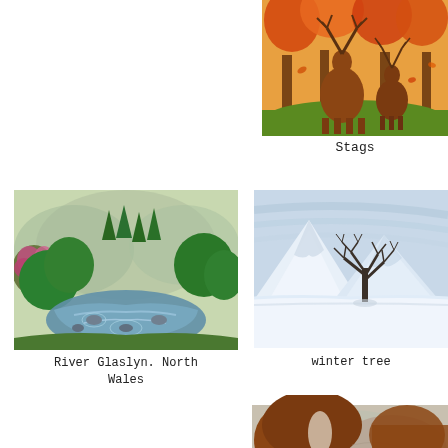[Figure (illustration): Painting of two stags with large antlers standing in an autumn forest with orange and red foliage]
Stags
[Figure (illustration): Watercolour painting of River Glaslyn in North Wales with green trees, pink flowers, rocky riverbed and misty mountains in background]
River Glaslyn. North Wales
[Figure (illustration): Drawing of a lone bare tree in a snowy mountain landscape with blue-grey sky and white snow-covered peaks]
winter tree
[Figure (illustration): Partial view of a brown and white dog, partially cropped at bottom of page]